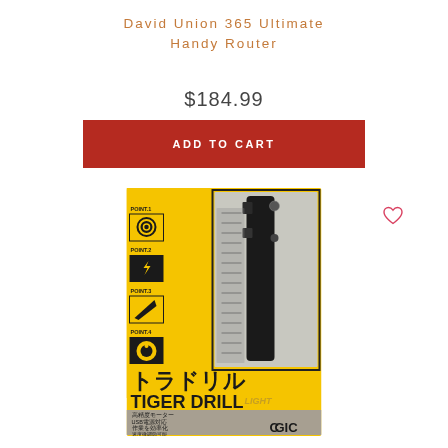David Union 365 Ultimate Handy Router
$184.99
ADD TO CART
[Figure (photo): Product packaging photo of GIC Tiger Drill (トラドリル) handy router in yellow box, showing the drill tool and features including 高精度モーター, USB電源対応, 作業を効率化, 速度微調節可能 with POINT 1-4 icons on the left side.]